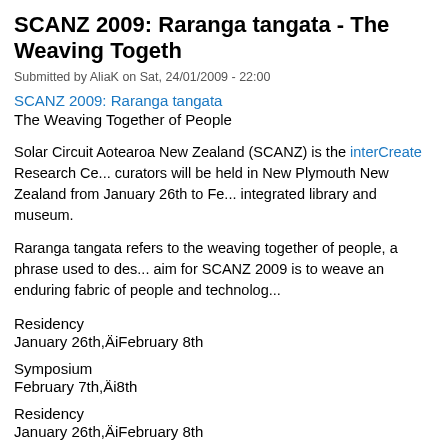SCANZ 2009: Raranga tangata - The Weaving Togeth
Submitted by AliaK on Sat, 24/01/2009 - 22:00
SCANZ 2009: Raranga tangata
The Weaving Together of People
Solar Circuit Aotearoa New Zealand (SCANZ) is the interCreate Research Ce... curators will be held in New Plymouth New Zealand from January 26th to Fe... integrated library and museum.
Raranga tangata refers to the weaving together of people, a phrase used to des... aim for SCANZ 2009 is to weave an enduring fabric of people and technolog...
Residency
January 26th,ÄiFebruary 8th
Symposium
February 7th,Äi8th
Residency
January 26th,ÄiFebruary 8th
The residency themes are Environmental Responses and Participate/Display C...